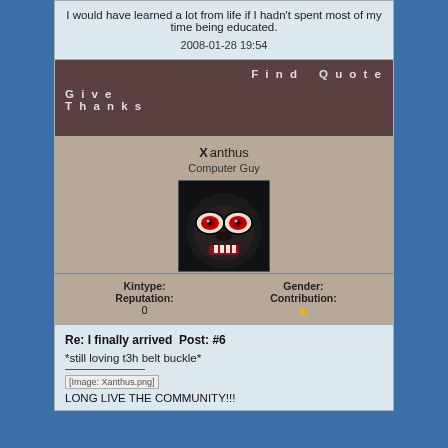I would have learned a lot from life if I hadn't spent most of my time being educated.
2008-01-28 19:54
Find   Quote   Give Thanks
Xanthus
Computer Guy
[Figure (photo): Avatar image of a dark masked/demon face with red eyes]
| Kintype: | Gender: |
| --- | --- |
| Reputation: | Contribution: |
| 0 | ★ |
Re: I finally arrived  Post: #6
*still loving t3h belt buckle*
[Image: Xanthus.png]
LONG LIVE THE COMMUNITY!!!